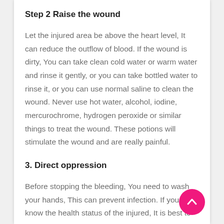Step 2 Raise the wound
Let the injured area be above the heart level, It can reduce the outflow of blood. If the wound is dirty, You can take clean cold water or warm water and rinse it gently, or you can take bottled water to rinse it, or you can use normal saline to clean the wound. Never use hot water, alcohol, iodine, mercurochrome, hydrogen peroxide or similar things to treat the wound. These potions will stimulate the wound and are really painful.
3. Direct oppression
Before stopping the bleeding, You need to wash your hands, This can prevent infection. If you don't know the health status of the injured, It is best to